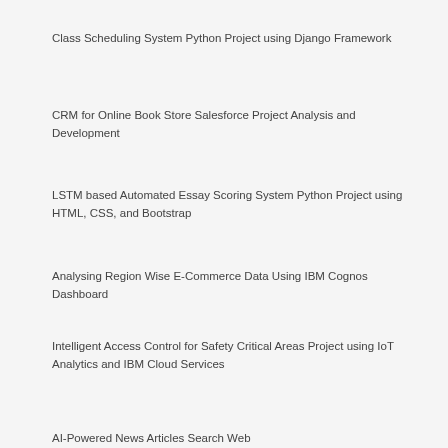Class Scheduling System Python Project using Django Framework
CRM for Online Book Store Salesforce Project Analysis and Development
LSTM based Automated Essay Scoring System Python Project using HTML, CSS, and Bootstrap
Analysing Region Wise E-Commerce Data Using IBM Cognos Dashboard
Intelligent Access Control for Safety Critical Areas Project using IoT Analytics and IBM Cloud Services
AI-Powered News Articles Search Web